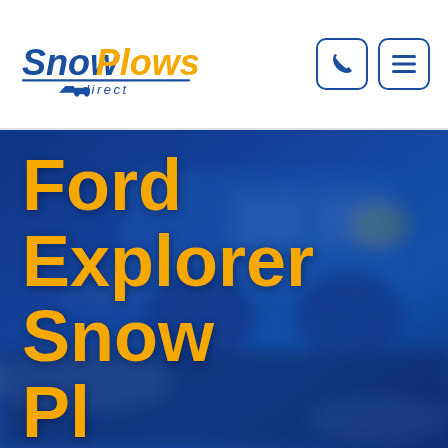[Figure (logo): Snow Plows Direct logo with blue 'Snow' text and orange 'Plows' text, with a snow plow icon and 'direct' text underneath]
[Figure (photo): Background photo of a snow plow truck, heavily blurred, with a dark blue color overlay]
Ford Explorer Snow Pl...